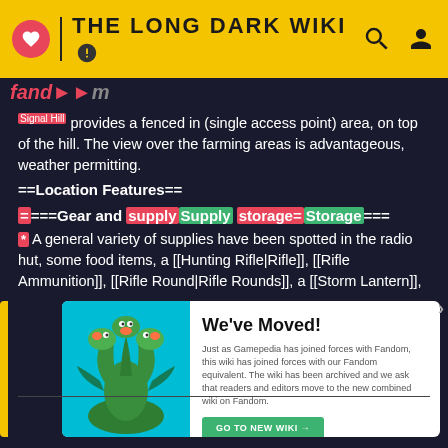THE LONG DARK WIKI
Signal Hill provides a fenced in (single access point) area, on top of the hill. The view over the farming areas is advantageous, weather permitting.
==Location Features==
====Gear and supply/Supply storage=Storage===
* A general variety of supplies have been spotted in the radio hut, some food items, a [[Hunting Rifle|Rifle]], [[Rifle Ammunition]], [[Rifle Round|Rifle Rounds]], a [[Storm Lantern]], [[Premium Winter Coat]], and [[Cargo Pants]]. Due to it's limited size and use as a technical station for radio operators, not much else can be found, but it is usually worth the trip.
[Figure (illustration): Three-headed serpent/hydra monster illustration on teal background]
We've Moved!
Just as Gamepedia has joined forces with Fandom, this wiki has joined forces with our Fandom equivalent. The wiki has been archived and we ask that readers and editors move to the new combined wiki on Fandom.
GO TO NEW WIKI →